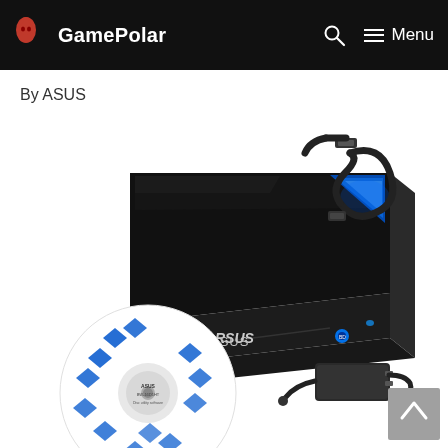GamePolar — Menu
By ASUS
[Figure (photo): ASUS external Blu-ray drive (black, glossy finish with blue accent light) shown with accessories: a USB cable, power adapter, and a software disc. The drive has the ASUS logo on the front and a Blu-ray logo. The disc is white with blue graphic elements.]